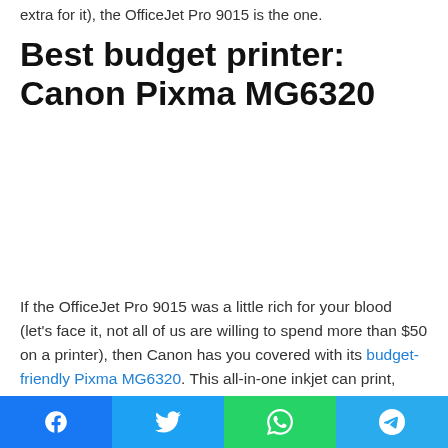extra for it), the OfficeJet Pro 9015 is the one.
Best budget printer: Canon Pixma MG6320
[Figure (other): Placeholder image area for Canon Pixma MG6320 printer]
If the OfficeJet Pro 9015 was a little rich for your blood (let's face it, not all of us are willing to spend more than $50 on a printer), then Canon has you covered with its budget-friendly Pixma MG6320. This all-in-one inkjet can print, copy, and scan, and it's wireless, so you can easily print from your